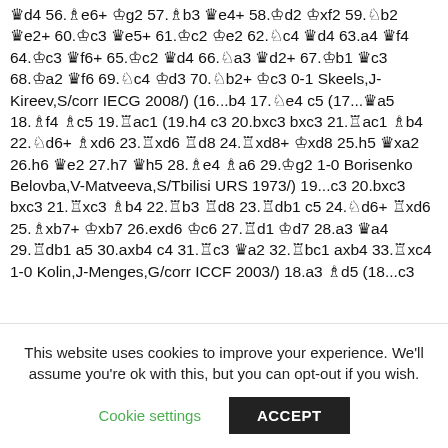♛d4 56.♗e6+ ♔g2 57.♗b3 ♛e4+ 58.♔d2 ♔xf2 59.♘b2 ♛e2+ 60.♔c3 ♛e5+ 61.♔c2 ♔e2 62.♘c4 ♛d4 63.a4 ♛f4 64.♔c3 ♛f6+ 65.♔c2 ♛d4 66.♘a3 ♛d2+ 67.♔b1 ♛c3 68.♔a2 ♛f6 69.♘c4 ♔d3 70.♘b2+ ♔c3 0-1 Skeels,J-Kireev,S/corr IECG 2008/) (16...b4 17.♘e4 c5 (17...♛a5 18.♗f4 ♗c5 19.♖ac1 (19.h4 c3 20.bxc3 bxc3 21.♖ac1 ♗b4 22.♘d6+ ♗xd6 23.♖xd6 ♖d8 24.♖xd8+ ♔xd8 25.h5 ♛xa2 26.h6 ♛e2 27.h7 ♛h5 28.♗e4 ♗a6 29.♔g2 1-0 Borisenko Belovba,V-Matveeva,S/Tbilisi URS 1973/) 19...c3 20.bxc3 bxc3 21.♖xc3 ♗b4 22.♖b3 ♖d8 23.♖db1 c5 24.♘d6+ ♖xd6 25.♗xb7+ ♔xb7 26.exd6 ♔c6 27.♖d1 ♔d7 28.a3 ♛a4 29.♖db1 a5 30.axb4 c4 31.♖c3 ♛a2 32.♖bc1 axb4 33.♖xc4 1-0 Kolin,J-Menges,G/corr ICCF 2003/) 18.a3 ♗d5 (18...c3
This website uses cookies to improve your experience. We'll assume you're ok with this, but you can opt-out if you wish.
Cookie settings    ACCEPT